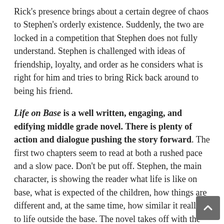Rick's presence brings about a certain degree of chaos to Stephen's orderly existence. Suddenly, the two are locked in a competition that Stephen does not fully understand. Stephen is challenged with ideas of friendship, loyalty, and order as he considers what is right for him and tries to bring Rick back around to being his friend.
Life on Base is a well written, engaging, and edifying middle grade novel. There is plenty of action and dialogue pushing the story forward. The first two chapters seem to read at both a rushed pace and a slow pace. Don't be put off. Stephen, the main character, is showing the reader what life is like on base, what is expected of the children, how things are different and, at the same time, how similar it really is to life outside the base. The novel takes off with the introduction of Rick in the third chapter. At this point, action pushes the story with minimal exposition about life on base. As one reads, the reader becomes aware that ordinary is more a state of mind rather than a common sameness with the outside world.